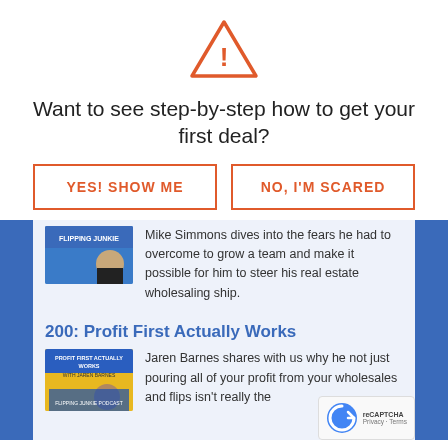[Figure (other): Warning/alert triangle icon in orange]
Want to see step-by-step how to get your first deal?
YES! SHOW ME
NO, I'M SCARED
Mike Simmons dives into the fears he had to overcome to grow a team and make it possible for him to steer his real estate wholesaling ship.
200: Profit First Actually Works
Jaren Barnes shares with us why he not just pouring all of your profit from your wholesales and flips isn't really the